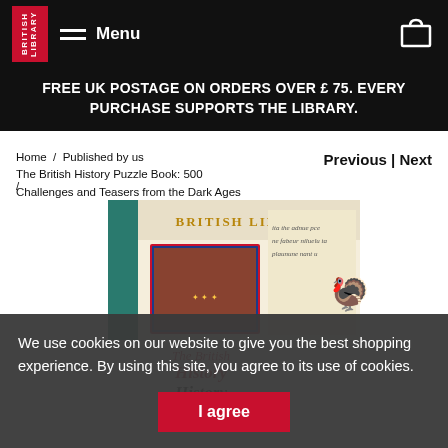BRITISH LIBRARY  Menu
FREE UK POSTAGE ON ORDERS OVER £ 75. EVERY PURCHASE SUPPORTS THE LIBRARY.
Home / Published by us / The British History Puzzle Book: 500 Challenges and Teasers from the Dark Ages to Digital Britain
Previous | Next
[Figure (photo): Book cover of The British History Puzzle Book published by British Library, showing medieval illuminated manuscript images.]
We use cookies on our website to give you the best shopping experience. By using this site, you agree to its use of cookies.
I agree